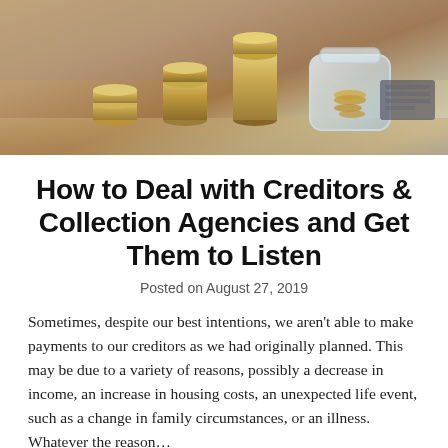[Figure (photo): Photo of stacked coins of varying heights and a glass jar filled with coins, suggesting savings and financial planning, with a blurred keyboard in the background on a wooden surface.]
How to Deal with Creditors & Collection Agencies and Get Them to Listen
Posted on August 27, 2019
Sometimes, despite our best intentions, we aren't able to make payments to our creditors as we had originally planned. This may be due to a variety of reasons, possibly a decrease in income, an increase in housing costs, an unexpected life event, such as a change in family circumstances, or an illness. Whatever the reason…